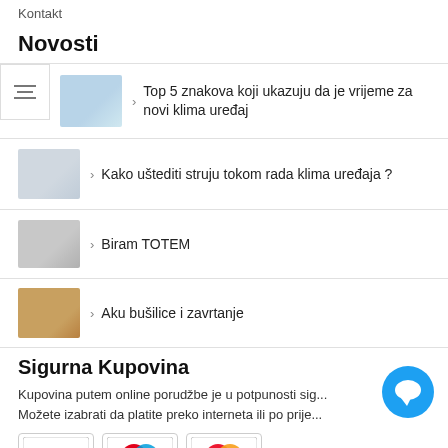Kontakt
Novosti
Top 5 znakova koji ukazuju da je vrijeme za novi klima uređaj
Kako uštediti struju tokom rada klima uređaja ?
Biram TOTEM
Aku bušilice i zavrtanje
Sigurna Kupovina
Kupovina putem online porudžbe je u potpunosti sig... Možete izabrati da platite preko interneta ili po prije...
[Figure (logo): VISA, Maestro, MasterCard payment logos]